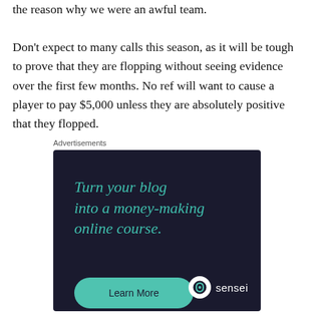the reason why we were an awful team.

Don't expect to many calls this season, as it will be tough to prove that they are flopping without seeing evidence over the first few months. No ref will want to cause a player to pay $5,000 unless they are absolutely positive that they flopped.
Advertisements
[Figure (other): Advertisement banner with dark navy background featuring teal text 'Turn your blog into a money-making online course.' with a teal 'Learn More' button and Sensei logo at bottom right.]